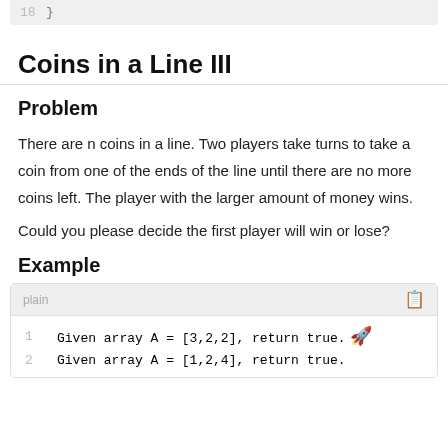18    }
Coins in a Line III
Problem
There are n coins in a line. Two players take turns to take a coin from one of the ends of the line until there are no more coins left. The player with the larger amount of money wins.
Could you please decide the first player will win or lose?
Example
plain
1    Given array A = [3,2,2], return true.
2    Given array A = [1,2,4], return true.